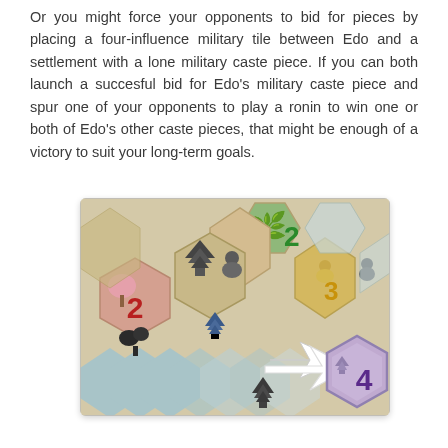Or you might force your opponents to bid for pieces by placing a four-influence military tile between Edo and a settlement with a lone military caste piece. If you can both launch a succesful bid for Edo's military caste piece and spur one of your opponents to play a ronin to win one or both of Edo's other caste pieces, that might be enough of a victory to suit your long-term goals.
[Figure (photo): A board game tile layout showing hexagonal game tiles with various pieces including pagoda miniatures, Buddha statues, and a tree piece. Numbers 2, 2, 3 appear on colored hexagons. A purple hexagonal tile with the number 4 and a pagoda icon is shown being placed (indicated by a white arrow), suggesting a military tile placement between settlements.]
(partial text at bottom, cut off)